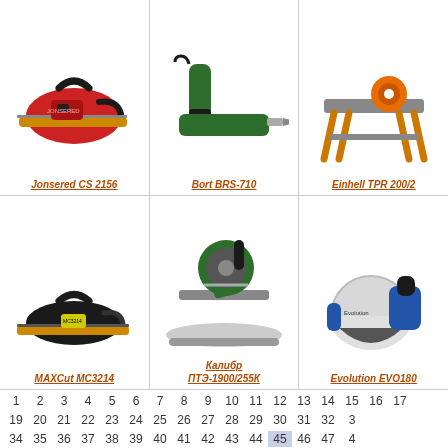[Figure (photo): Jonsered CS 2156 chainsaw]
Jonsered CS 2156
[Figure (photo): Bort BRS-710 reciprocating saw]
Bort BRS-710
[Figure (photo): Einhell TPR 200/2 tile saw on stand]
Einhell TPR 200/2
[Figure (photo): MAXCut MC3214 chainsaw]
MAXCut MC3214
[Figure (photo): Калибр ПТЭ-1900/255К miter saw]
Калибр
ПТЭ-1900/255К
[Figure (photo): Evolution EVO180 circular saw]
Evolution EVO180
1 2 3 4 5 6 7 8 9 10 11 12 13 14 15 16 17
19 20 21 22 23 24 25 26 27 28 29 30 31 32 3
34 35 36 37 38 39 40 41 42 43 44 45 46 47 4